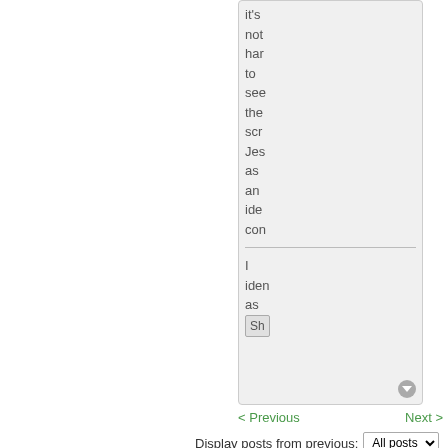[Figure (screenshot): Scrollable forum post text box showing partial text content including lines: it's, not, har, to, see, the, scr, Jes, as, an, ide, con, then a divider, I, iden, as, and an inline button labeled Sh, with a scroll indicator circle at bottom right]
< Previous    Next >
Display posts from previous:  All posts
Sort by  Post time
Ascending  Go
POST REPLY